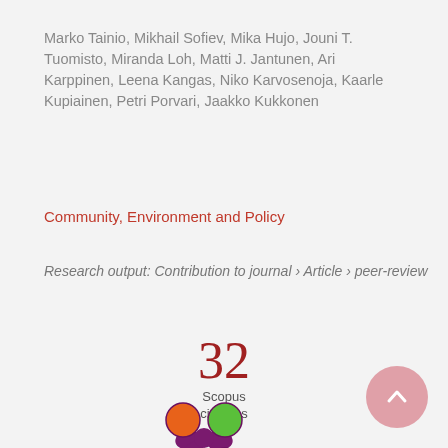Marko Tainio, Mikhail Sofiev, Mika Hujo, Jouni T. Tuomisto, Miranda Loh, Matti J. Jantunen, Ari Karppinen, Leena Kangas, Niko Karvosenoja, Kaarle Kupiainen, Petri Porvari, Jaakko Kukkonen
Community, Environment and Policy
Research output: Contribution to journal › Article › peer-review
32
Scopus
citations
[Figure (logo): Altmetric score donut logo with orange, green, purple circles and dark magenta asterisk/splat shape]
[Figure (other): Pink circular scroll-to-top button with upward chevron arrow]